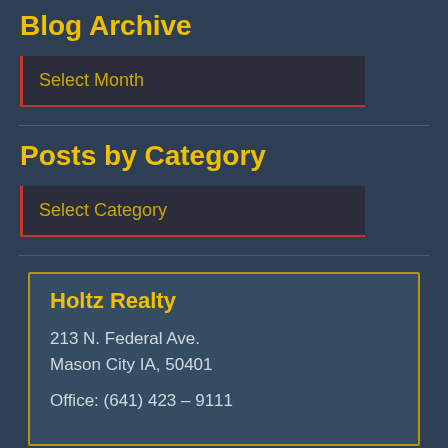Blog Archive
Select Month
Posts by Category
Select Category
Holtz Realty
213 N. Federal Ave.
Mason City IA, 50401
Office: (641) 423 – 9111